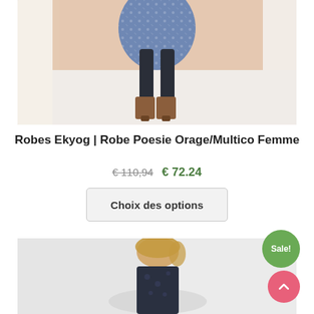[Figure (photo): Product photo showing lower body of a woman wearing a floral dress, dark leggings, and brown suede ankle boots against a light background]
Robes Ekyog | Robe Poesie Orage/Multico Femme
€ 110,94 € 72.24
Choix des options
[Figure (photo): Product photo showing a woman with blonde hair wearing a dark floral dress, partially cropped. A green 'Sale!' badge appears in the corner.]